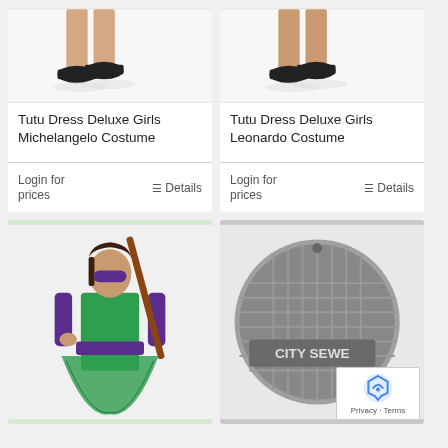[Figure (photo): Bottom half of girl legs wearing black sneakers on white background - product photo for Tutu Dress Deluxe Girls Michelangelo Costume]
Tutu Dress Deluxe Girls Michelangelo Costume
Login for prices
Details
[Figure (photo): Bottom half of girl legs wearing black sneakers on white background - product photo for Tutu Dress Deluxe Girls Leonardo Costume]
Tutu Dress Deluxe Girls Leonardo Costume
Login for prices
Details
[Figure (photo): Girl wearing green Ninja Turtle tutu dress costume with purple mask and holding a staff]
[Figure (photo): TMNT City Sewer manhole cover ornament - circular grey metallic design with CITY SEWER text]